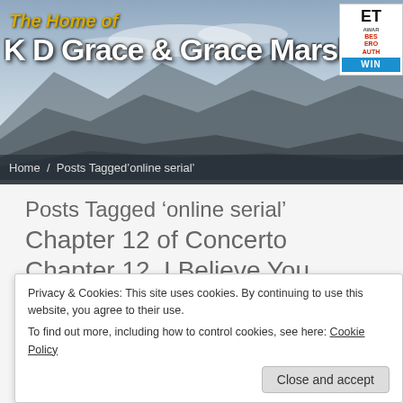[Figure (illustration): Website header banner with mountainous landscape background, showing 'The Home of K D Grace & Grace Marshall' text with an award badge in top right corner]
Home / Posts Tagged 'online serial'
Posts Tagged ‘online serial’
Chapter 12 of Concerto
Chapter 12  I Believe You
•
Privacy & Cookies: This site uses cookies. By continuing to use this website, you agree to their use.
To find out more, including how to control cookies, see here: Cookie Policy
Close and accept